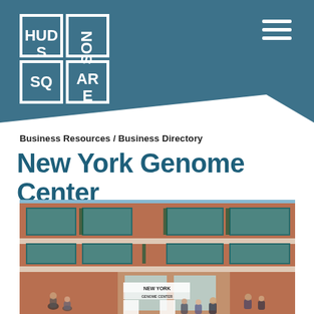Hudson Square — Navigation header with logo and menu
Business Resources / Business Directory
New York Genome Center
[Figure (photo): Exterior photograph of the New York Genome Center building — a multi-story red brick building with large teal/green-framed windows on multiple floors. People are gathered on the sidewalk in front of the entrance. A sign reading 'NEW YORK GENOME CENTER' is visible at the entrance level.]